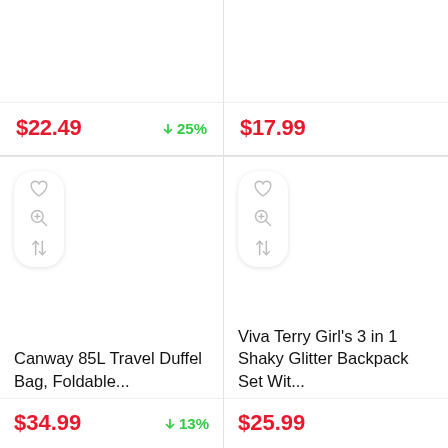$22.49
↓ 25%
$17.99
[Figure (illustration): Product card with heart, zoom, and compare icons; Canway 85L Travel Duffel Bag, Foldable...]
Canway 85L Travel Duffel Bag, Foldable...
$34.99
↓ 13%
[Figure (illustration): Product card with heart, zoom, and compare icons; Viva Terry Girl's 3 in 1 Shaky Glitter Backpack Set Wit...]
Viva Terry Girl's 3 in 1 Shaky Glitter Backpack Set Wit...
$25.99